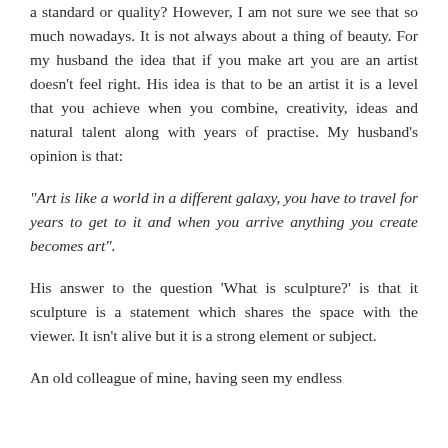a standard or quality? However, I am not sure we see that so much nowadays. It is not always about a thing of beauty. For my husband the idea that if you make art you are an artist doesn't feel right. His idea is that to be an artist it is a level that you achieve when you combine, creativity, ideas and natural talent along with years of practise. My husband's opinion is that:
“Art is like a world in a different galaxy, you have to travel for years to get to it and when you arrive anything you create becomes art”.
His answer to the question ‘What is sculpture?’ is that it sculpture is a statement which shares the space with the viewer. It isn’t alive but it is a strong element or subject.
An old colleague of mine, having seen my endless